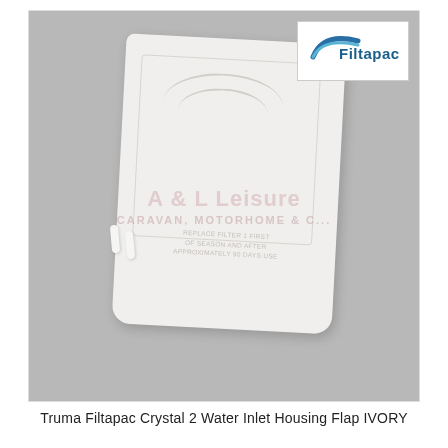[Figure (photo): Product photo of a Truma Filtapac Crystal 2 Water Inlet Housing Flap in ivory/white color, shown on a gray felt background. The rectangular flap has rounded corners and an embossed logo/text design. Two small white cylindrical pins are shown to the lower left of the flap. A Filtapac logo appears in a white box in the upper right corner of the image. An A&L Leisure watermark is overlaid across the center.]
Truma Filtapac Crystal 2 Water Inlet Housing Flap IVORY